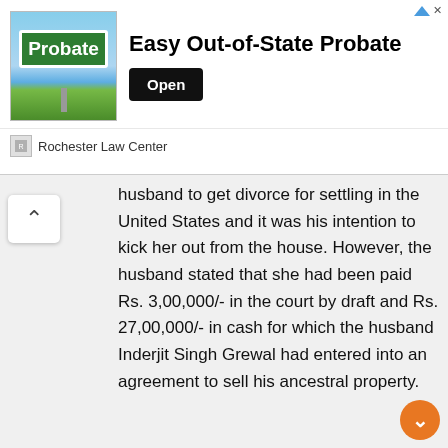[Figure (screenshot): Advertisement banner for Rochester Law Center promoting 'Easy Out-of-State Probate' with a green probate road sign image and an 'Open' button]
husband to get divorce for settling in the United States and it was his intention to kick her out from the house. However, the husband stated that she had been paid Rs. 3,00,000/- in the court by draft and Rs. 27,00,000/- in cash for which the husband Inderjit Singh Grewal had entered into an agreement to sell his ancestral property. The complainant had not been living with the appellant after the decree of divorce and they were not having physical relationship with each other. It was further suggested in the report that legal opinion may also be taken.
VII. Legal opinion dated 2.6.2009 had been to the effect that the parties had to be divorced under the...